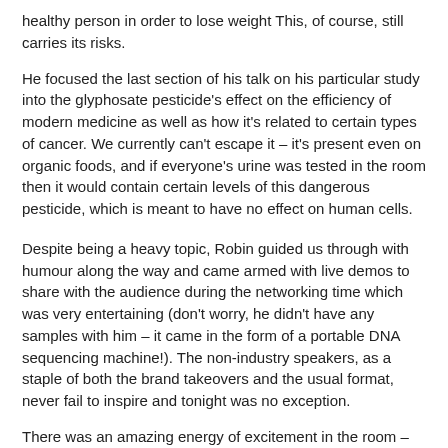healthy person in order to lose weight This, of course, still carries its risks.
He focused the last section of his talk on his particular study into the glyphosate pesticide's effect on the efficiency of modern medicine as well as how it's related to certain types of cancer. We currently can't escape it – it's present even on organic foods, and if everyone's urine was tested in the room then it would contain certain levels of this dangerous pesticide, which is meant to have no effect on human cells.
Despite being a heavy topic, Robin guided us through with humour along the way and came armed with live demos to share with the audience during the networking time which was very entertaining (don't worry, he didn't have any samples with him – it came in the form of a portable DNA sequencing machine!). The non-industry speakers, as a staple of both the brand takeovers and the usual format, never fail to inspire and tonight was no exception.
There was an amazing energy of excitement in the room – one which